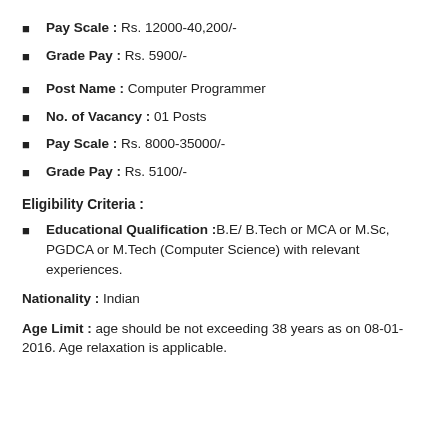Pay Scale : Rs. 12000-40,200/-
Grade Pay : Rs. 5900/-
Post Name : Computer Programmer
No. of Vacancy : 01 Posts
Pay Scale : Rs. 8000-35000/-
Grade Pay : Rs. 5100/-
Eligibility Criteria :
Educational Qualification :B.E/ B.Tech or MCA or M.Sc, PGDCA or M.Tech (Computer Science) with relevant experiences.
Nationality : Indian
Age Limit : age should be not exceeding 38 years as on 08-01-2016. Age relaxation is applicable.